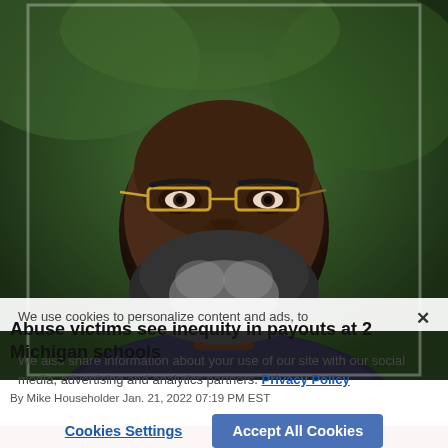[Figure (photo): Close-up photo of a middle-aged Black man with gray-streaked beard wearing tortoiseshell glasses, looking directly at camera with a serious expression. Background is blurred green foliage.]
Abuse victims see inequity in payouts at 2 Michigan schools
We use cookies to personalize content and ads, to × Abuse victims see inequity in payouts at 2 Michigan schools We also share information about your use of our site with our social media, advertising and analytics partners. Privacy Policy
Cookies Settings   Accept All Cookies
By Mike Householder Jan. 21, 2022 07:19 PM EST